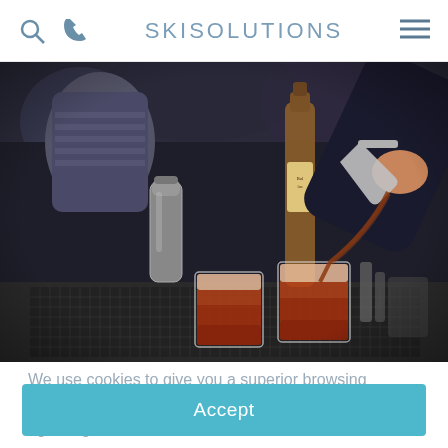SKI SOLUTIONS
[Figure (photo): A bartender pouring a cocktail into two glasses on a bar counter, with bottles and shaker in the background]
We use cookies to give you a superior browsing experience. By continuing to use the site you are agreeing to our use of cookies. Find out more here.
Accept